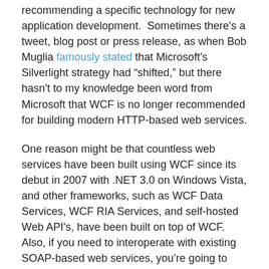recommending a specific technology for new application development.  Sometimes there's a tweet, blog post or press release, as when Bob Muglia famously stated that Microsoft's Silverlight strategy had “shifted,” but there hasn't to my knowledge been word from Microsoft that WCF is no longer recommended for building modern HTTP-based web services.
One reason might be that countless web services have been built using WCF since its debut in 2007 with .NET 3.0 on Windows Vista, and other frameworks, such as WCF Data Services, WCF RIA Services, and self-hosted Web API's, have been built on top of WCF.  Also, if you need to interoperate with existing SOAP-based web services, you’re going to want to use WCF rather than handcrafted SOAP messages.